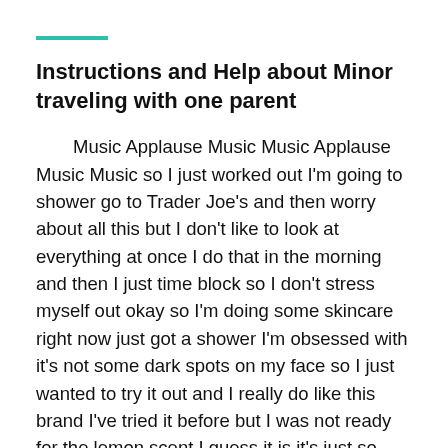Instructions and Help about Minor traveling with one parent
Music Applause Music Music Applause Music Music so I just worked out I'm going to shower go to Trader Joe's and then worry about all this but I don't like to look at everything at once I do that in the morning and then I just time block so I don't stress myself out okay so I'm doing some skincare right now just got a shower I'm obsessed with it's not some dark spots on my face so I just wanted to try it out and I really do like this brand I've tried it before but I was not ready for the lemon scent I guess it is it's just so refreshing I feel like I'm gonna spa you have to try this if you have not already it smells so good Music okay so my